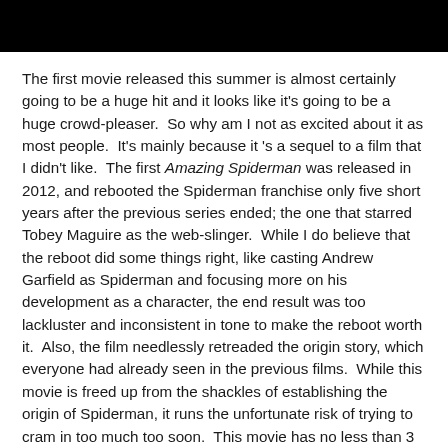[Figure (photo): Black bar/banner at the top of the page]
The first movie released this summer is almost certainly going to be a huge hit and it looks like it's going to be a huge crowd-pleaser.  So why am I not as excited about it as most people.  It's mainly because it 's a sequel to a film that I didn't like.  The first Amazing Spiderman was released in 2012, and rebooted the Spiderman franchise only five short years after the previous series ended; the one that starred Tobey Maguire as the web-slinger.  While I do believe that the reboot did some things right, like casting Andrew Garfield as Spiderman and focusing more on his development as a character, the end result was too lackluster and inconsistent in tone to make the reboot worth it.  Also, the film needlessly retreaded the origin story, which everyone had already seen in the previous films.  While this movie is freed up from the shackles of establishing the origin of Spiderman, it runs the unfortunate risk of trying to cram in too much too soon.  This movie has no less than 3